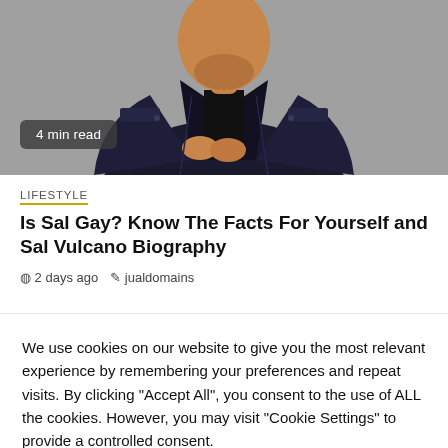[Figure (photo): Photo of a man wearing a dark denim jacket with hands clasped, photographed from chest up against a grey background. A badge reading '4 min read' appears in the lower left of the image.]
4 min read
LIFESTYLE
Is Sal Gay? Know The Facts For Yourself and Sal Vulcano Biography
2 days ago   jualdomains
We use cookies on our website to give you the most relevant experience by remembering your preferences and repeat visits. By clicking "Accept All", you consent to the use of ALL the cookies. However, you may visit "Cookie Settings" to provide a controlled consent.